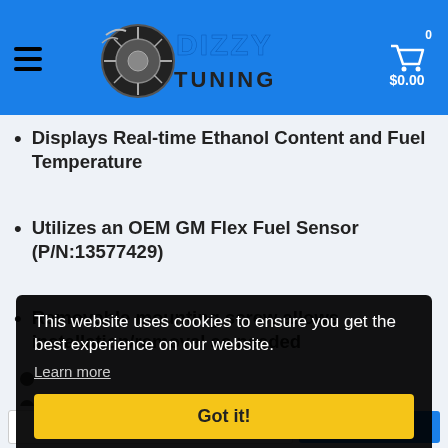[Figure (logo): Dizzy Tuning logo with spinning tire graphic and blue gradient text, on blue header bar with hamburger menu and shopping cart showing 0 / $0.00]
Displays Real-time Ethanol Content and Fuel Temperature
Utilizes an OEM GM Flex Fuel Sensor (P/N:13577429)
Removable mounting screw allows installation/removal as needed
This website uses cookies to ensure you get the best experience on our website.
Learn more
Got it!